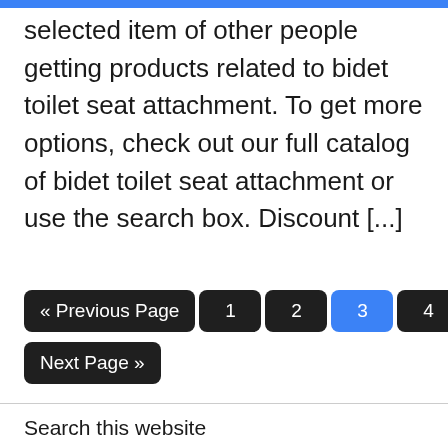selected item of other people getting products related to bidet toilet seat attachment. To get more options, check out our full catalog of bidet toilet seat attachment or use the search box. Discount [...]
« Previous Page  1  2  3  4  5  ...  612  Next Page »
Search this website